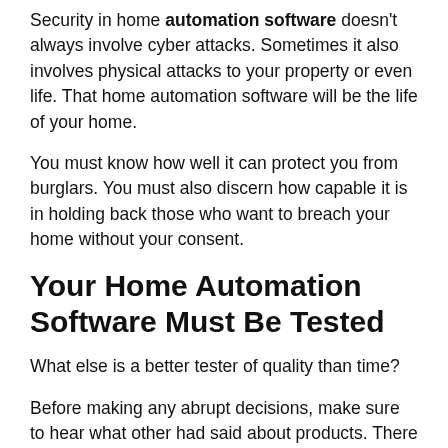Security in home automation software doesn't always involve cyber attacks. Sometimes it also involves physical attacks to your property or even life. That home automation software will be the life of your home.
You must know how well it can protect you from burglars. You must also discern how capable it is in holding back those who want to breach your home without your consent.
Your Home Automation Software Must Be Tested
What else is a better tester of quality than time?
Before making any abrupt decisions, make sure to hear what other had said about products. There are a lot of reliable reviews available on the internet...